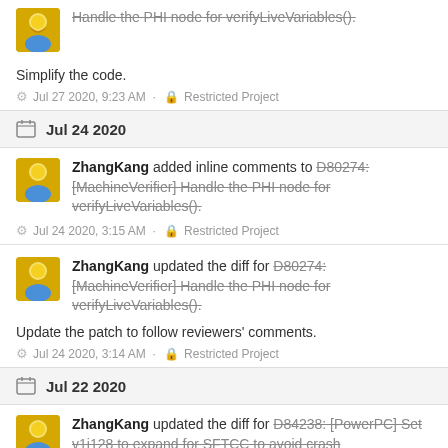Handle the PHI node for verifyLiveVariables().
Simplify the code.
Jul 27 2020, 9:23 AM · Restricted Project
Jul 24 2020
ZhangKang added inline comments to D80274: [MachineVerifier] Handle the PHI node for verifyLiveVariables().
Jul 24 2020, 3:15 AM · Restricted Project
ZhangKang updated the diff for D80274: [MachineVerifier] Handle the PHI node for verifyLiveVariables().
Update the patch to follow reviewers' comments.
Jul 24 2020, 3:14 AM · Restricted Project
Jul 22 2020
ZhangKang updated the diff for D84238: [PowerPC] Set v1i128 to expand for SFTCC to avoid crash